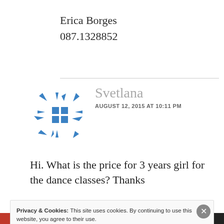Erica Borges
087.1328852
Svetlana
AUGUST 12, 2015 AT 10:11 PM
Hi. What is the price for 3 years girl for the dance classes? Thanks
Privacy & Cookies: This site uses cookies. By continuing to use this website, you agree to their use.
To find out more, including how to control cookies, see here: Cookie Policy
Close and accept